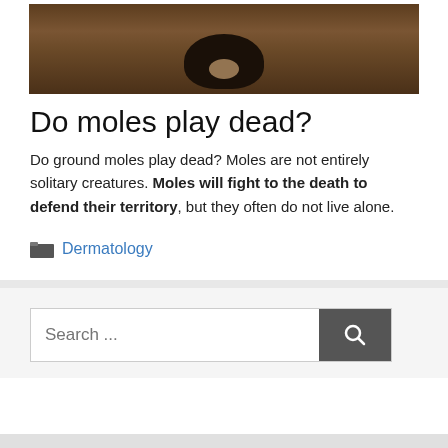[Figure (photo): A close-up photo of a mole partially visible in a dirt hole in the ground, showing soil and the dark animal.]
Do moles play dead?
Do ground moles play dead? Moles are not entirely solitary creatures. Moles will fight to the death to defend their territory, but they often do not live alone.
Dermatology
Search ...